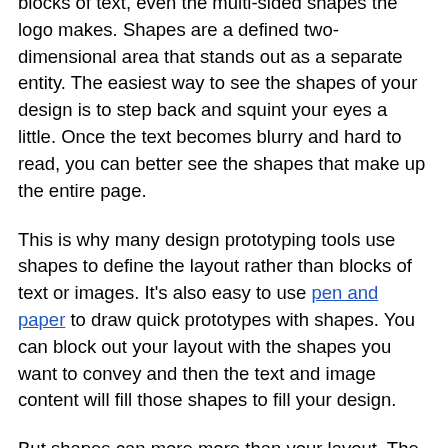above, the rectangles and squares of the images and the blocks of text, even the multi-sided shapes the logo makes. Shapes are a defined two-dimensional area that stands out as a separate entity. The easiest way to see the shapes of your design is to step back and squint your eyes a little. Once the text becomes blurry and hard to read, you can better see the shapes that make up the entire page.
This is why many design prototyping tools use shapes to define the layout rather than blocks of text or images. It's also easy to use pen and paper to draw quick prototypes with shapes. You can block out your layout with the shapes you want to convey and then the text and image content will fill those shapes to fill your design.
But shapes can more more than your layout. The image of the sun at the top of this page is a stylized image using just shapes and colors to create a picture we recognize as the sun. You should also consider shapes when you work on...